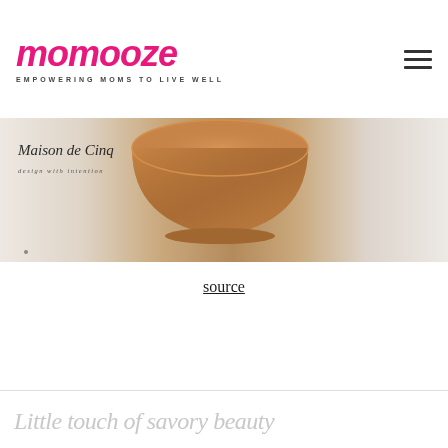momooze — EMPOWERING MOMS TO LIVE WELL
[Figure (photo): Photograph of a copper bowl on a light surface; 'Maison de Cinq' text overlay in cursive with tagline below]
source
Little touch of savory beauty